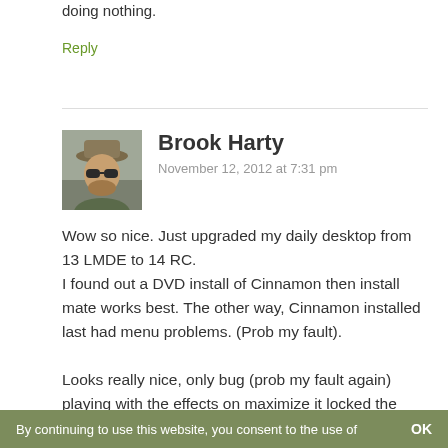doing nothing.
Reply
Brook Harty
November 12, 2012 at 7:31 pm
[Figure (photo): Avatar photo of Brook Harty showing a man with sunglasses and a hat]
Wow so nice. Just upgraded my daily desktop from 13 LMDE to 14 RC.
I found out a DVD install of Cinnamon then install mate works best. The other way, Cinnamon installed last had menu problems. (Prob my fault).

Looks really nice, only bug (prob my fault again) playing with the effects on maximize it locked the desktop. I'll keep playing and if its a bug, I'll report it. But really enjoying Mate with clearlooks-phenix-master
By continuing to use this website, you consent to the use of    OK